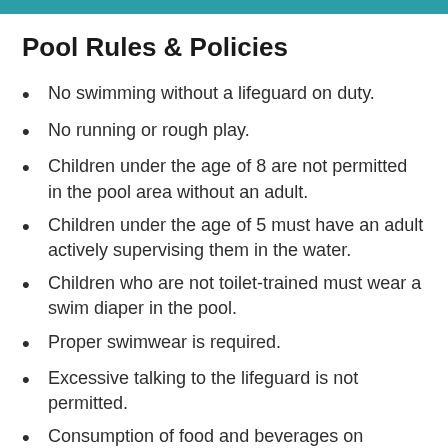Pool Rules & Policies
No swimming without a lifeguard on duty.
No running or rough play.
Children under the age of 8 are not permitted in the pool area without an adult.
Children under the age of 5 must have an adult actively supervising them in the water.
Children who are not toilet-trained must wear a swim diaper in the pool.
Proper swimwear is required.
Excessive talking to the lifeguard is not permitted.
Consumption of food and beverages on